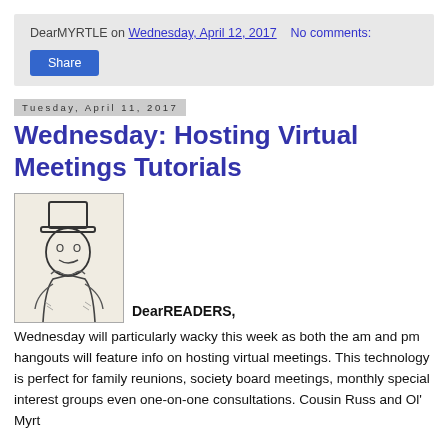DearMYRTLE on Wednesday, April 12, 2017    No comments:
Share
Tuesday, April 11, 2017
Wednesday: Hosting Virtual Meetings Tutorials
[Figure (illustration): Victorian-era illustration of a person wearing a top hat, drawn in black and white sketch style.]
DearREADERS,
Wednesday will particularly wacky this week as both the am and pm hangouts will feature info on hosting virtual meetings. This technology is perfect for family reunions, society board meetings, monthly special interest groups even one-on-one consultations. Cousin Russ and Ol' Myrt